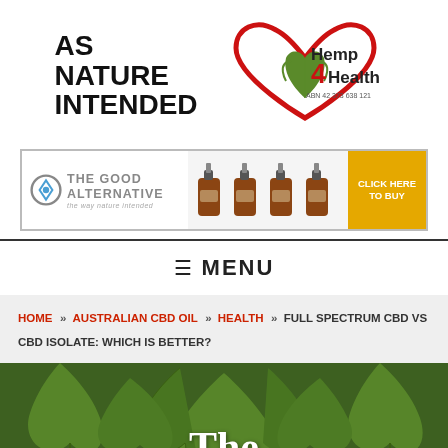[Figure (logo): AS NATURE INTENDED and Hemp4Health logos side by side]
[Figure (screenshot): The Good Alternative banner advertisement with CBD oil bottles and click here to buy button]
≡ MENU
HOME » AUSTRALIAN CBD OIL » HEALTH » FULL SPECTRUM CBD VS CBD ISOLATE: WHICH IS BETTER?
[Figure (photo): Cannabis plant leaves closeup background with white text 'The']